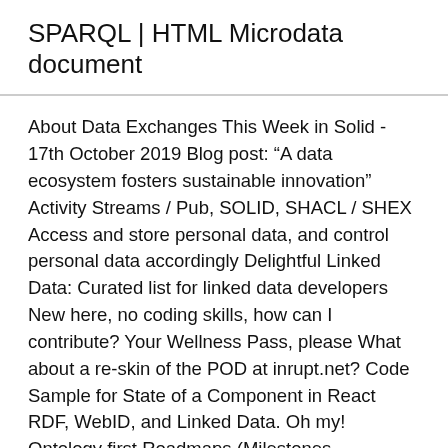SPARQL | HTML Microdata document
About Data Exchanges This Week in Solid - 17th October 2019 Blog post: “A data ecosystem fosters sustainable innovation” Activity Streams / Pub, SOLID, SHACL / SHEX Access and store personal data, and control personal data accordingly Delightful Linked Data: Curated list for linked data developers New here, no coding skills, how can I contribute? Your Wellness Pass, please What about a re-skin of the POD at inrupt.net? Code Sample for State of a Component in React RDF, WebID, and Linked Data. Oh my! Ontology first Roadmaps (Milestones, Dependencies, etc) Databrowser error Parle, the solid-nested-chat Older user, fed up with the ‘Buy it Here’ Internet! Nginx reverse proxy issue on solidweb.org Your apps know where you were last night; do you? Redecentralize Digest — June 2020 How to create a meta file Revoking data access Full-stack linked data: lessons from building an RDF web app A